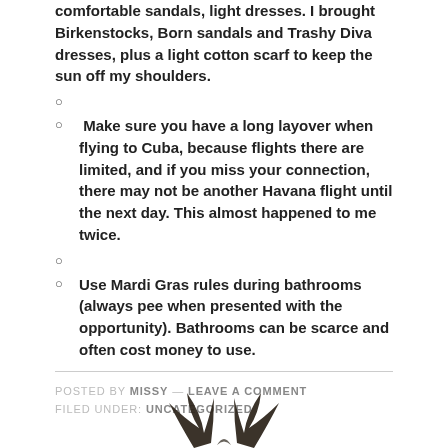comfortable sandals, light dresses. I brought Birkenstocks, Born sandals and Trashy Diva dresses, plus a light cotton scarf to keep the sun off my shoulders.
Make sure you have a long layover when flying to Cuba, because flights there are limited, and if you miss your connection, there may not be another Havana flight until the next day. This almost happened to me twice.
Use Mardi Gras rules during bathrooms (always pee when presented with the opportunity). Bathrooms can be scarce and often cost money to use.
POSTED BY MISSY — LEAVE A COMMENT
FILED UNDER: UNCATEGORIZED
[Figure (logo): Decorative logo/illustration at the bottom center of the page, dark wing-like shapes]